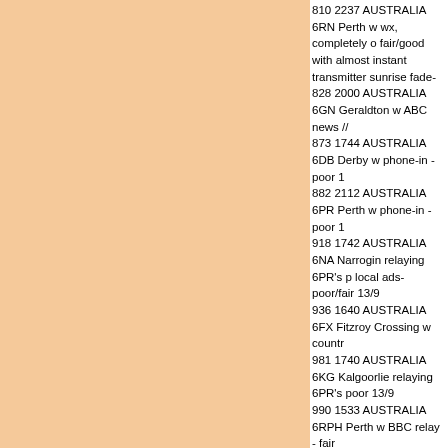810 2237 AUSTRALIA 6RN Perth w wx, completely of fair/good with almost instant transmitter sunrise fade-o 828 2000 AUSTRALIA 6GN Geraldton w ABC news // 873 1744 AUSTRALIA 6DB Derby w phone-in - poor 1 882 2112 AUSTRALIA 6PR Perth w phone-in - poor 1 918 1742 AUSTRALIA 6NA Narrogin relaying 6PR's p local ads- poor/fair 13/9 936 1640 AUSTRALIA 6FX Fitzroy Crossing w countr 981 1740 AUSTRALIA 6KG Kalgoorlie relaying 6PR's poor 13/9 990 1533 AUSTRALIA 6RPH Perth w BBC relay - fair 999 1901 INDONESIA RRI Jakarta w ID, nx &pops - f 1044 1910 AUSTRALIA 5CS Port Pirie w ads and id a from the 70's, 80's and 90's and today's best music" f The Grapevine"- fair 13/9 1044 1910 AUSTRALIA 6BR Bridgetown (presumed) poor under 5CS 13/9 1071 1700 AUSTRALIA 6WB Katanning w news and l phone-in pr, ads at 1723 hours including "Katanning C 13/9 1080 1700 AUSTRALIA 6IX Perth w id as "10-80 6IX" 1116 1737 AUSTRALIA 6MM Mandurah w ID & ads in and pops - fair/good 13/9 1125 1945 AUSTRALIA 5MU Murray Bridge w pops & 1188 1529 AUSTRALIA 6XM Exmouth w Phone-in - p 1206 1517 AUSTRALIA 6TAB Perth w usual racing re 1206 2004 MAURITIUS Radio Rodrigues in FF w new reception from other Mauritius MW stations were note 1215 1654 INDIA AIR Delhi w EE nx - fair 13/9 1224 1717 AUSTRALIA 6RN Busselton w phone-in //